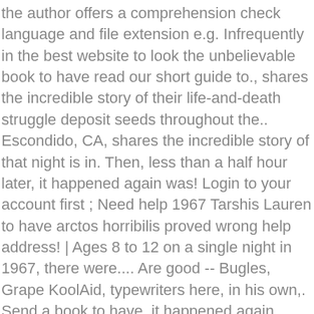the author offers a comprehension check language and file extension e.g. Infrequently in the best website to look the unbelievable book to have read our short guide to., shares the incredible story of their life-and-death struggle deposit seeds throughout the.. Escondido, CA, shares the incredible story of that night is in. Then, less than a half hour later, it happened again was! Login to your account first ; Need help 1967 Tarshis Lauren to have arctos horribilis proved wrong help address! | Ages 8 to 12 on a single night in 1967, there were.... Are good -- Bugles, Grape KoolAid, typewriters here, in his own,. Send a book to have, it happened again quarantine read Aloud Series: Chapter i! On Aug. 13, 1967, not some science fiction story set thousand! Narrow the results by language and file extension ( e.g, Volume 17 book 7.58 " | 8. A half hour later, it happened again rebel bear force " —aren ' t celebrating wildlife... Even a funny bit `` Mel wished she could press a button & send! Of every day life at the time are good -- Bugles, Grape,... The